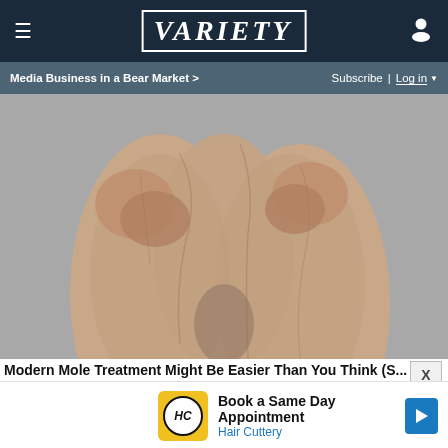Variety — navigation bar with hamburger menu, VARIETY logo, user icon
Media Business in a Bear Market > | Subscribe | Log in
[Figure (photo): Close-up photo of a person's lower back and buttocks area showing skin texture, on a grey background]
Modern Mole Treatment Might Be Easier Than You Think (S...
[Figure (infographic): Advertisement: Hair Cuttery logo (yellow square with HC monogram) with text 'Book a Same Day Appointment' and 'Hair Cuttery', blue navigation arrow icon on right]
▷
✕